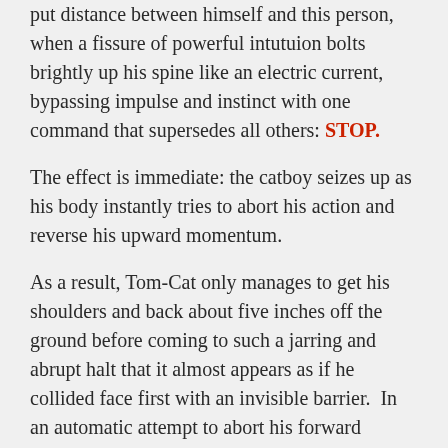put distance between himself and this person, when a fissure of powerful intutuion bolts brightly up his spine like an electric current, bypassing impulse and instinct with one command that supersedes all others: STOP.
The effect is immediate: the catboy seizes up as his body instantly tries to abort his action and reverse his upward momentum.
As a result, Tom-Cat only manages to get his shoulders and back about five inches off the ground before coming to such a jarring and abrupt halt that it almost appears as if he collided face first with an invisible barrier.  In an automatic attempt to abort his forward momentum, Tom-Cat wrenches back, which effectively stops his movement as intended.
By some miracle, the catboy just manages to avoid striking Miiya's face with own on the upsurge. Unfortunately, the same can't be said on the backswing: when he jerks back, his head slams--point blank--directly into Miiya's face like a cat-eared